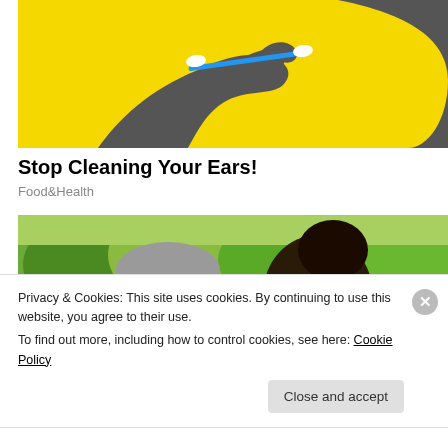[Figure (illustration): Yellow background illustration of a gray silhouetted hand holding a cotton swab near a gray silhouetted ear profile]
Stop Cleaning Your Ears!
Food&Health
[Figure (photo): Outdoor photo showing two people from behind, one with short gray hair wearing sunglasses/mask and the other with dark hair in a ponytail, green trees/field in background]
Privacy & Cookies: This site uses cookies. By continuing to use this website, you agree to their use.
To find out more, including how to control cookies, see here: Cookie Policy
Close and accept